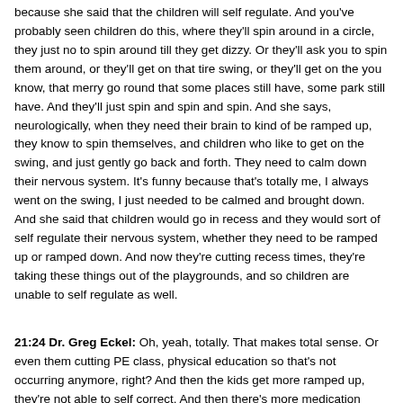because she said that the children will self regulate. And you've probably seen children do this, where they'll spin around in a circle, they just no to spin around till they get dizzy. Or they'll ask you to spin them around, or they'll get on that tire swing, or they'll get on the you know, that merry go round that some places still have, some park still have. And they'll just spin and spin and spin. And she says, neurologically, when they need their brain to kind of be ramped up, they know to spin themselves, and children who like to get on the swing, and just gently go back and forth. They need to calm down their nervous system. It's funny because that's totally me, I always went on the swing, I just needed to be calmed and brought down. And she said that children would go in recess and they would sort of self regulate their nervous system, whether they need to be ramped up or ramped down. And now they're cutting recess times, they're taking these things out of the playgrounds, and so children are unable to self regulate as well.
21:24 Dr. Greg Eckel: Oh, yeah, totally. That makes total sense. Or even them cutting PE class, physical education so that's not occurring anymore, right? And then the kids get more ramped up, they're not able to self correct. And then there's more medication prescribed, right? Like, oh, what a catch 22 here.